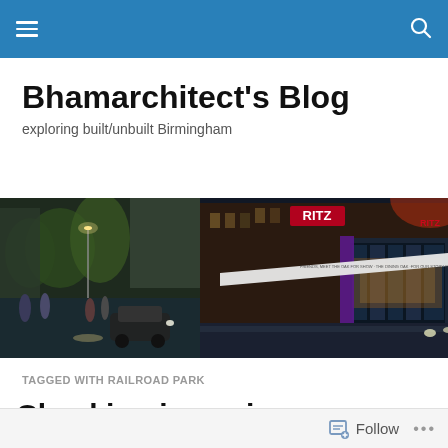Bhamarchitect's Blog navigation bar
Bhamarchitect's Blog
exploring built/unbuilt Birmingham
[Figure (photo): Nighttime street-level architectural rendering of a city block with a Ritz venue, glass-fronted building with illuminated interior, people on wet sidewalk, cars, and urban skyline in the background.]
TAGGED WITH RAILROAD PARK
Checking in again
Follow